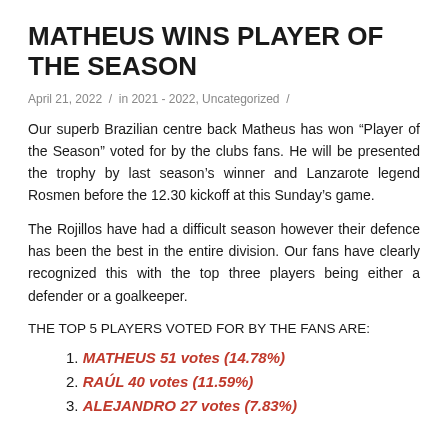MATHEUS WINS PLAYER OF THE SEASON
April 21, 2022 / in 2021 - 2022, Uncategorized /
Our superb Brazilian centre back Matheus has won "Player of the Season" voted for by the clubs fans. He will be presented the trophy by last season's winner and Lanzarote legend Rosmen before the 12.30 kickoff at this Sunday's game.
The Rojillos have had a difficult season however their defence has been the best in the entire division. Our fans have clearly recognized this with the top three players being either a defender or a goalkeeper.
THE TOP 5 PLAYERS VOTED FOR BY THE FANS ARE:
1. MATHEUS 51 votes (14.78%)
2. RAÚL 40 votes (11.59%)
3. ALEJANDRO 27 votes (7.83%)